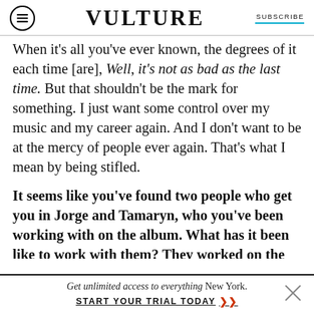VULTURE | SUBSCRIBE
When it's all you've ever known, the degrees of it each time [are], Well, it's not as bad as the last time. But that shouldn't be the mark for something. I just want some control over my music and my career again. And I don't want to be at the mercy of people ever again. That's what I mean by being stifled.
It seems like you've found two people who get you in Jorge and Tamaryn, who you've been working with on the album. What has it been like to work with them? They worked on the whole record with you, right?
Get unlimited access to everything New York. START YOUR TRIAL TODAY ➤➤